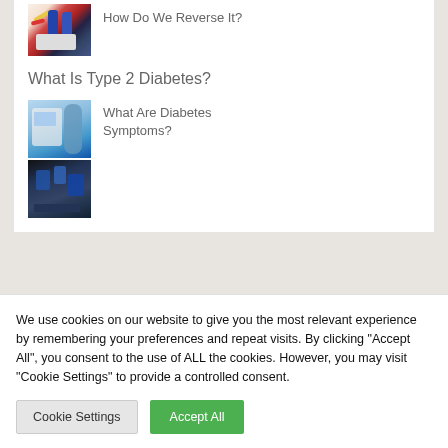[Figure (photo): Diabetes testing supplies including blood glucose meter and lancets]
How Do We Reverse It?
What Is Type 2 Diabetes?
[Figure (photo): Close-up of person using blood glucose meter with blue gloves]
[Figure (photo): Dark background with cartoon medical icons]
What Are Diabetes Symptoms?
We use cookies on our website to give you the most relevant experience by remembering your preferences and repeat visits. By clicking "Accept All", you consent to the use of ALL the cookies. However, you may visit "Cookie Settings" to provide a controlled consent.
Cookie Settings
Accept All